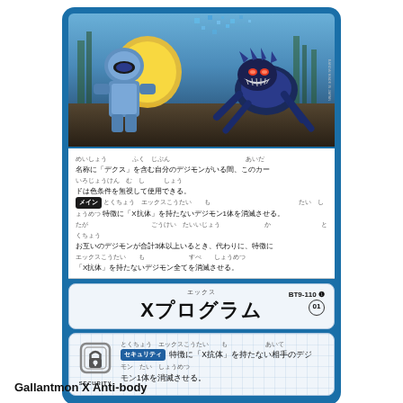[Figure (illustration): Digimon trading card showing two Digimon characters in battle scene with blue/dark forest background]
名称に「デクス」を含む自分のデジモンがいる間、このカードは色条件を無視して使用できる。
メイン 特徴に「X抗体」を持たないデジモン1体を消滅させる。
お互いのデジモンが合計3体以上いるとき、代わりに、特徴に「X抗体」を持たないデジモン全てを消滅させる。
Xプログラム
BT9-110 ❶
01
セキュリティ 特徴に「X抗体」を持たない相手のデジモン1体を消滅させる。
Gallantmon X Anti-body